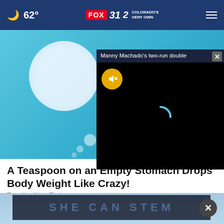62° FOX 31 2 COLORADO'S VERY OWN
[Figure (screenshot): Hero image with blue/teal background, white circular shape with bubbles, representing a health/wellness product.]
[Figure (screenshot): Floating video popup with title 'Manny Machado's two-run double', black video area with yellow mute button and loading spinner, and close X button.]
A Teaspoon on an Empty Stomach Drops Body Weight Like Crazy!
Trending New Finds
[Figure (screenshot): Bottom section showing a blue-toned image with a dark semi-transparent banner reading 'SHE CAN STEM', with a dark X close button overlay.]